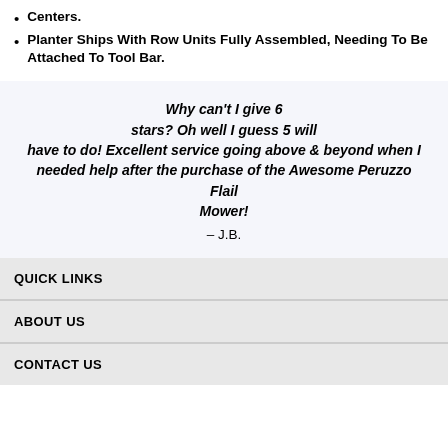Centers.
Planter Ships With Row Units Fully Assembled, Needing To Be Attached To Tool Bar.
Why can't I give 6 stars? Oh well I guess 5 will have to do! Excellent service going above & beyond when I needed help after the purchase of the Awesome Peruzzo Flail Mower! – J.B.
QUICK LINKS
ABOUT US
CONTACT US